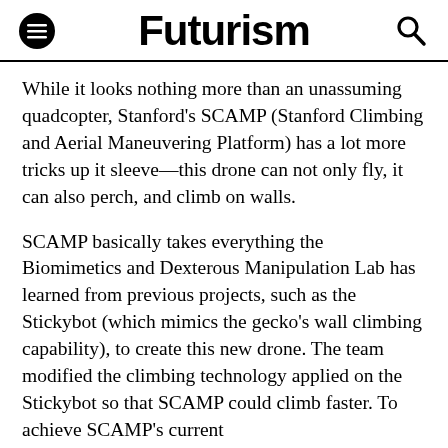Futurism
While it looks nothing more than an unassuming quadcopter, Stanford's SCAMP (Stanford Climbing and Aerial Maneuvering Platform) has a lot more tricks up it sleeve—this drone can not only fly, it can also perch, and climb on walls.
SCAMP basically takes everything the Biomimetics and Dexterous Manipulation Lab has learned from previous projects, such as the Stickybot (which mimics the gecko's wall climbing capability), to create this new drone. The team modified the climbing technology applied on the Stickybot so that SCAMP could climb faster. To achieve SCAMP's current